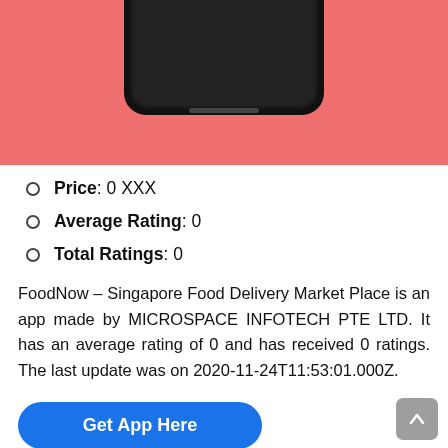[Figure (photo): Partial view of a smartphone on a salmon/coral pink background, showing the bottom of the phone frame]
Price: 0 XXX
Average Rating: 0
Total Ratings: 0
FoodNow – Singapore Food Delivery Market Place is an app made by MICROSPACE INFOTECH PTE LTD. It has an average rating of 0 and has received 0 ratings. The last update was on 2020-11-24T11:53:01.000Z.